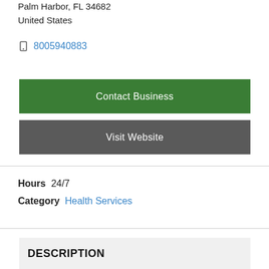Palm Harbor, FL 34682
United States
8005940883
Contact Business
Visit Website
Hours  24/7
Category  Health Services
DESCRIPTION